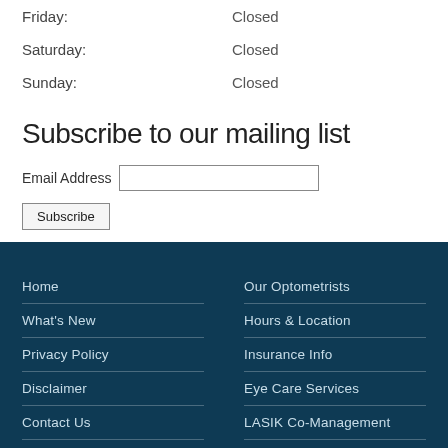Friday: Closed
Saturday: Closed
Sunday: Closed
Subscribe to our mailing list
Email Address [input field] Subscribe [button]
Home
What's New
Privacy Policy
Disclaimer
Contact Us
Our Optometrists
Hours & Location
Insurance Info
Eye Care Services
LASIK Co-Management